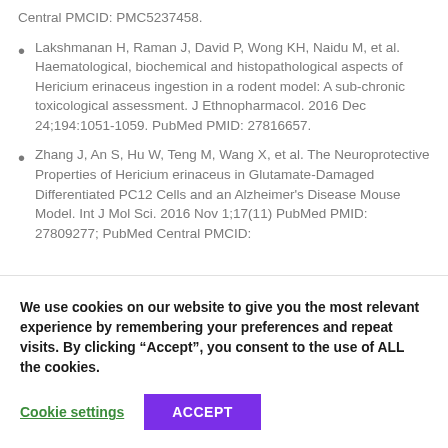Central PMCID: PMC5237458.
Lakshmanan H, Raman J, David P, Wong KH, Naidu M, et al. Haematological, biochemical and histopathological aspects of Hericium erinaceus ingestion in a rodent model: A sub-chronic toxicological assessment. J Ethnopharmacol. 2016 Dec 24;194:1051-1059. PubMed PMID: 27816657.
Zhang J, An S, Hu W, Teng M, Wang X, et al. The Neuroprotective Properties of Hericium erinaceus in Glutamate-Damaged Differentiated PC12 Cells and an Alzheimer's Disease Mouse Model. Int J Mol Sci. 2016 Nov 1;17(11) PubMed PMID: 27809277; PubMed Central PMCID:
We use cookies on our website to give you the most relevant experience by remembering your preferences and repeat visits. By clicking “Accept”, you consent to the use of ALL the cookies.